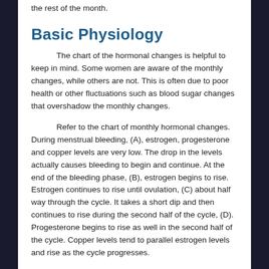the rest of the month.
Basic Physiology
The chart of the hormonal changes is helpful to keep in mind. Some women are aware of the monthly changes, while others are not. This is often due to poor health or other fluctuations such as blood sugar changes that overshadow the monthly changes.
Refer to the chart of monthly hormonal changes. During menstrual bleeding, (A), estrogen, progesterone and copper levels are very low. The drop in the levels actually causes bleeding to begin and continue. At the end of the bleeding phase, (B), estrogen begins to rise. Estrogen continues to rise until ovulation, (C) about half way through the cycle. It takes a short dip and then continues to rise during the second half of the cycle, (D). Progesterone begins to rise as well in the second half of the cycle. Copper levels tend to parallel estrogen levels and rise as the cycle progresses.
In the premenstrual phase (E), 7-10 days before the